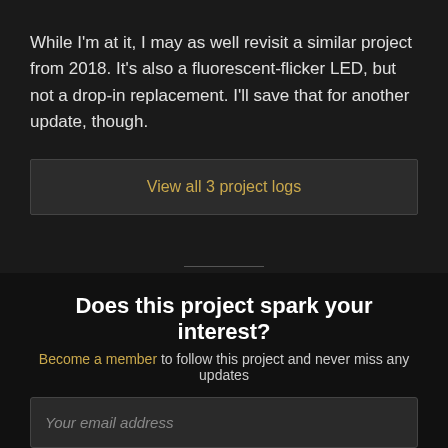While I'm at it, I may as well revisit a similar project from 2018. It's also a fluorescent-flicker LED, but not a drop-in replacement. I'll save that for another update, though.
View all 3 project logs
ENJOY THIS PROJECT?
Does this project spark your interest?
Become a member to follow this project and never miss any updates
Your email address